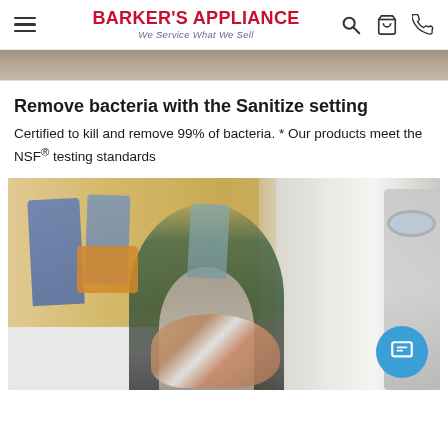BARKER'S APPLIANCE We Service What We Sell
[Figure (photo): Partial top image of a person, cropped at the top of the page]
Remove bacteria with the Sanitize setting
Certified to kill and remove 99% of bacteria. * Our products meet the NSF® testing standards
[Figure (photo): A man and young girl petting a dog in a mudroom/laundry room with coat hooks and a washing machine visible on the right side. A blue circular chat button is visible in the bottom right corner.]